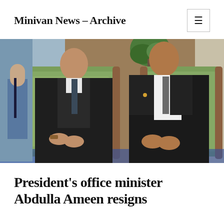Minivan News – Archive
[Figure (photo): Two men in dark suits sitting in ornate green and gold upholstered chairs. A third person stands in the background wearing a uniform. The setting appears formal, possibly an official government or diplomatic venue.]
President's office minister Abdulla Ameen resigns